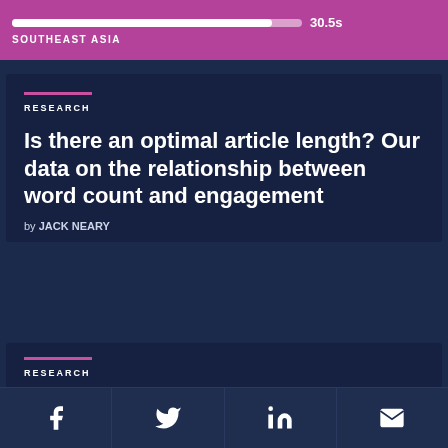[Figure (other): Purple progress bar showing 30.5s with Southeast Asia region label below]
RESEARCH
Is there an optimal article length? Our data on the relationship between word count and engagement
by JACK NEARY
[Figure (scatter-plot): Scatter plot showing Average Engaged Time (seconds) vs word count, dots rising in a curve pattern]
RESEARCH
[Figure (other): Footer social media icons: Facebook, Twitter, LinkedIn, Email]